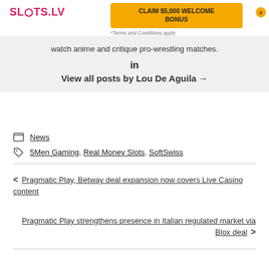[Figure (logo): SLOTS.LV logo in pink/red]
CLAIM $5,000 WELCOME BONUS
*Terms and Conditions apply
watch anime and critique pro-wrestling matches.
in
View all posts by Lou De Aguila →
News
5Men Gaming, Real Money Slots, SoftSwiss
< Pragmatic Play, Betway deal expansion now covers Live Casino content
Pragmatic Play strengthens presence in Italian regulated market via Blox deal >